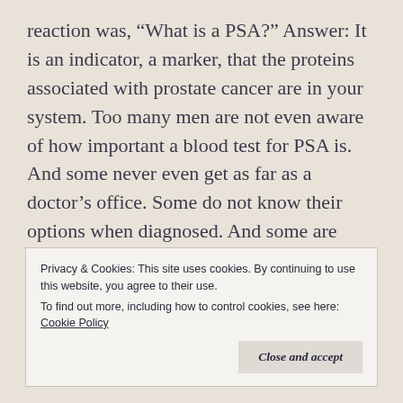reaction was, “What is a PSA?” Answer: It is an indicator, a marker, that the proteins associated with prostate cancer are in your system. Too many men are not even aware of how important a blood test for PSA is. And some never even get as far as a doctor’s office. Some do not know their options when diagnosed. And some are given options but choose to do nothing.
It is one thing to make a choice when you have all the information necessary. It is another not to have
Privacy & Cookies: This site uses cookies. By continuing to use this website, you agree to their use.
To find out more, including how to control cookies, see here: Cookie Policy